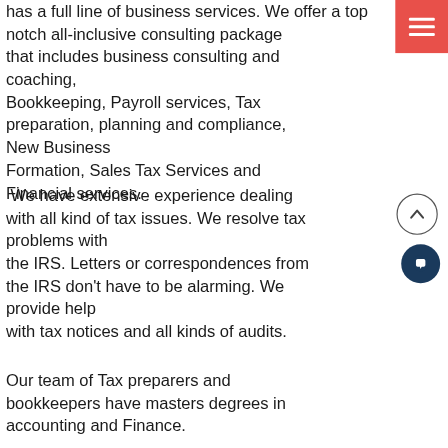has a full line of business services. We offer a top notch all-inclusive consulting package that includes business consulting and coaching, Bookkeeping, Payroll services, Tax preparation, planning and compliance, New Business Formation, Sales Tax Services and Financial services.
We have extensive experience dealing with all kind of tax issues. We resolve tax problems with the IRS. Letters or correspondences from the IRS don't have to be alarming. We provide help with tax notices and all kinds of audits.
Our team of Tax preparers and bookkeepers have masters degrees in accounting and Finance.